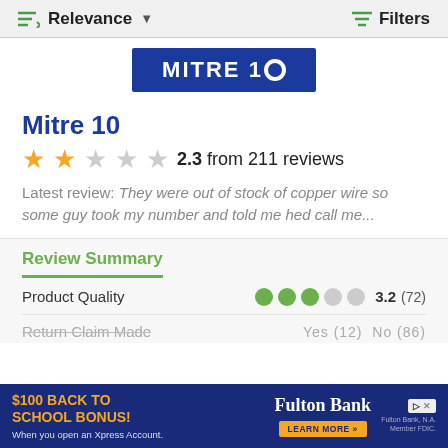Relevance  Filters
[Figure (logo): Mitre 10 blue logo with white text]
Mitre 10
2.3 from 211 reviews
Latest review: They were out of stock of copper wire so some guy took my number and told me hed call me...
Review Summary
Product Quality   3.2 (72)
Return Claim Made   Yes (12)  No (86)
[Figure (screenshot): Fulton Bank advertisement: $100 Back to School Bonus! When you open an Xpress Account. Learn More button.]